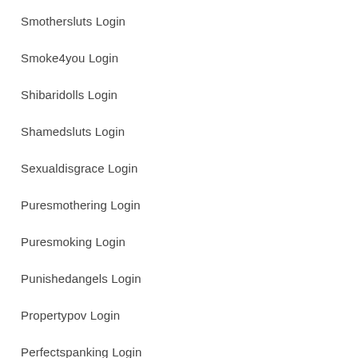Smothersluts Login
Smoke4you Login
Shibaridolls Login
Shamedsluts Login
Sexualdisgrace Login
Puresmothering Login
Puresmoking Login
Punishedangels Login
Propertypov Login
Perfectspanking Login